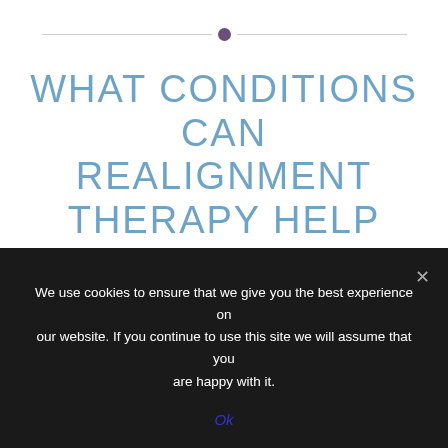WHAT CONDITIONS CAN REALIGNMENT THERAPY HELP WITH?
Realignment Therapy works on the physical, mental and emotional level to bring about major
We use cookies to ensure that we give you the best experience on our website. If you continue to use this site we will assume that you are happy with it.
Ok